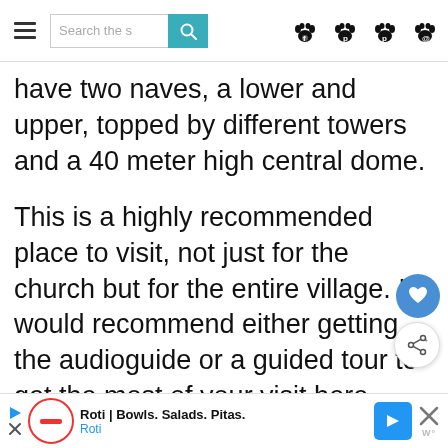Search the s [search button] [paw icons]
have two naves, a lower and upper, topped by different towers and a 40 meter high central dome.
This is a highly recommended place to visit, not just for the church but for the entire village. I would recommend either getting the audioguide or a guided tour to get the most of your visit here.
Note that Colònia Güell is located
Roti | Bowls. Salads. Pitas. Roti [ad banner]